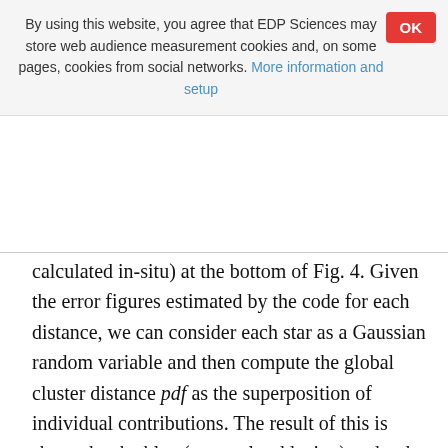By using this website, you agree that EDP Sciences may store web audience measurement cookies and, on some pages, cookies from social networks. More information and setup
calculated in-situ) at the bottom of Fig. 4. Given the error figures estimated by the code for each distance, we can consider each star as a Gaussian random variable and then compute the global cluster distance pdf as the superposition of individual contributions. The result of this is shown by the blue (external reddening) and red (reddening computed in-situ) curves. We can see that the selected method to include reddening in our calculations has, as anticipated, a low impact on the final cluster distance distribution. A gray dashed vertical line indicates the distance of NGC 6723 quoted in the Harris (1996) compilation (8.7 kpc). We take our estimation of the cluster distance as the mode of the global pdf. Our